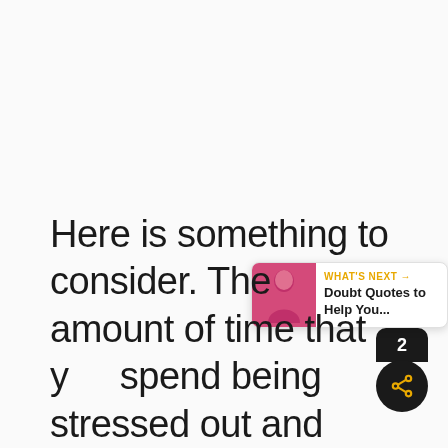Here is something to consider. The amount of time that you spend being stressed out and
[Figure (screenshot): Like button (heart icon) in orange circle, share count showing 2, share button in black circle with orange share icon, and a 'What's Next' overlay showing 'Doubt Quotes to Help You...' with a thumbnail image.]